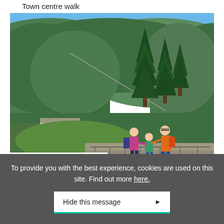Town centre walk
[Figure (photo): Outdoor photo of a family of three standing on a rocky overlook with a panoramic view of a forested mountain valley. A ski lift or cable line is visible on the hillside, and a building is visible in the valley below. Tall evergreen trees frame the foreground. Clear blue sky above.]
The Saboteur's trail
To provide you with the best experience, cookies are used on this site. Find out more here.
Hide this message ▶